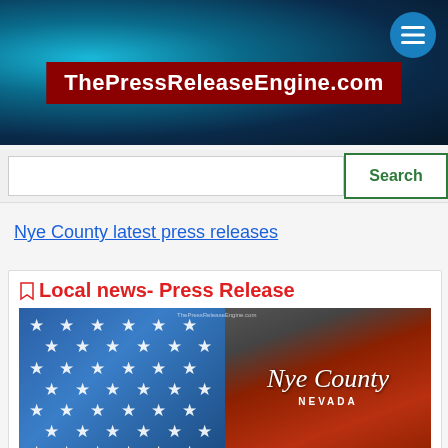ThePressReleaseEngine.com
Nye County latest press releases
Local news- Press Release
[Figure (photo): Composite image: left half shows a blue US flag with white stars, right half shows 'Nye County NEVADA' text over red and brown striped background with watermark 'ThePressReleaseEngine.com']